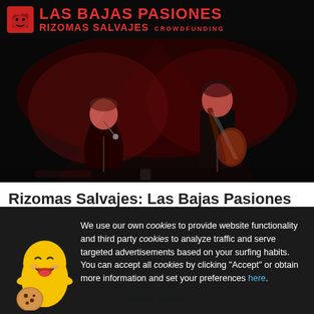[Figure (screenshot): Website screenshot of 'Las Bajas Pasiones - Rizomas Salvajes Crowdfunding' showing a concert photo with two performers on dark stage lit in red, with a cookie consent overlay dialog and a 'Show filters' link at the bottom.]
LAS BAJAS PASIONES RIZOMAS SALVAJES CROWDFUNDING
Rizomas Salvajes: Las Bajas Pasiones
We use our own cookies to provide website functionality and third party cookies to analyze traffic and serve targeted advertisements based on your surfing habits. You can accept all cookies by clicking “Accept” or obtain more information and set your preferences here.
Accept
Show filters